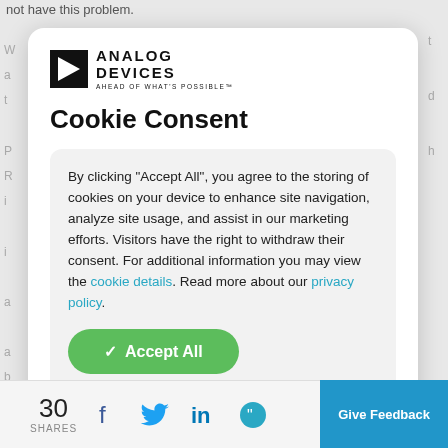not have this problem.
[Figure (logo): Analog Devices logo with triangle icon and tagline AHEAD OF WHAT'S POSSIBLE]
Cookie Consent
By clicking “Accept All”, you agree to the storing of cookies on your device to enhance site navigation, analyze site usage, and assist in our marketing efforts. Visitors have the right to withdraw their consent. For additional information you may view the cookie details. Read more about our privacy policy.
Accept All
30 SHARES